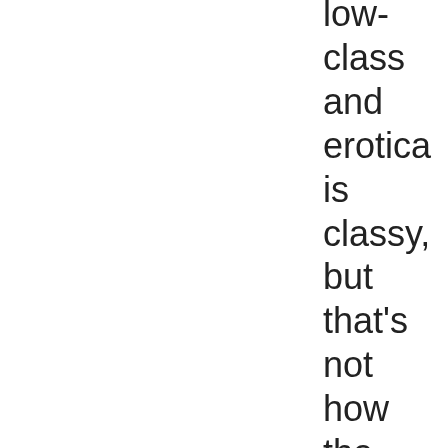low-class and erotica is classy, but that's not how the categories are being used in ebook stores. It all gets shoved together in the Erotica bin.)